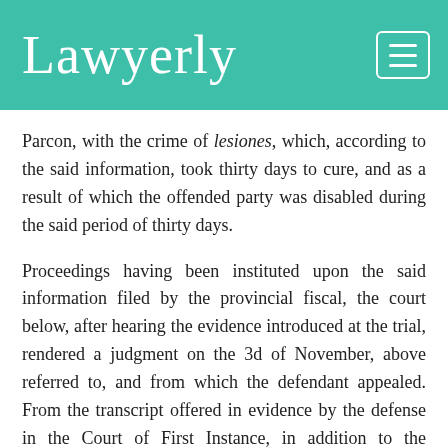Lawyerly
Parcon, with the crime of lesiones, which, according to the said information, took thirty days to cure, and as a result of which the offended party was disabled during the said period of thirty days.
Proceedings having been instituted upon the said information filed by the provincial fiscal, the court below, after hearing the evidence introduced at the trial, rendered a judgment on the 3d of November, above referred to, and from which the defendant appealed. From the transcript offered in evidence by the defense in the Court of First Instance, in addition to the aforesaid complaint filed by the provincial fiscal on the 10th of September, 1903, in the justice's court of Pototan, charging the defendant, Parcon, with the said